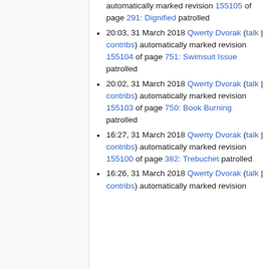automatically marked revision 155105 of page 291: Dignified patrolled
20:03, 31 March 2018 Qwerty Dvorak (talk | contribs) automatically marked revision 155104 of page 751: Swimsuit Issue patrolled
20:02, 31 March 2018 Qwerty Dvorak (talk | contribs) automatically marked revision 155103 of page 750: Book Burning patrolled
16:27, 31 March 2018 Qwerty Dvorak (talk | contribs) automatically marked revision 155100 of page 382: Trebuchet patrolled
16:26, 31 March 2018 Qwerty Dvorak (talk | contribs) automatically marked revision